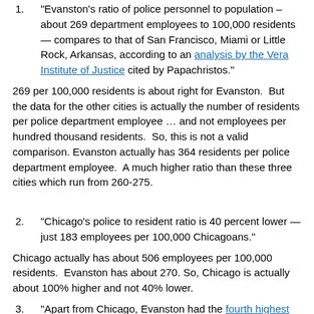1. "Evanston's ratio of police personnel to population – about 269 department employees to 100,000 residents — compares to that of San Francisco, Miami or Little Rock, Arkansas, according to an analysis by the Vera Institute of Justice cited by Papachristos."
269 per 100,000 residents is about right for Evanston.  But the data for the other cities is actually the number of residents per police department employee … and not employees per hundred thousand residents.  So, this is not a valid comparison. Evanston actually has 364 residents per police department employee.  A much higher ratio than these three cities which run from 260-275.
2. "Chicago's police to resident ratio is 40 percent lower — just 183 employees per 100,000 Chicagoans."
Chicago actually has about 506 employees per 100,000 residents.  Evanston has about 270. So, Chicago is actually about 100% higher and not 40% lower.
3. "Apart from Chicago, Evanston had the fourth highest ratio of police to residents in the state, trailing only Addison, Elk Grove Village and